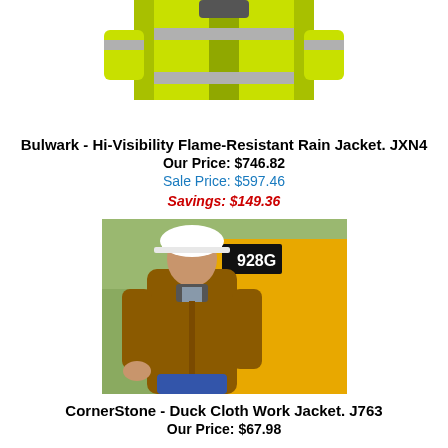[Figure (photo): Hi-visibility yellow flame-resistant rain jacket with reflective silver stripes, shown from the torso area, cropped at top]
Bulwark - Hi-Visibility Flame-Resistant Rain Jacket. JXN4
Our Price: $746.82
Sale Price: $597.46
Savings: $149.36
[Figure (photo): Man wearing a brown duck cloth work jacket and white hard hat, standing near yellow construction equipment marked 928G]
CornerStone - Duck Cloth Work Jacket. J763
Our Price: $67.98